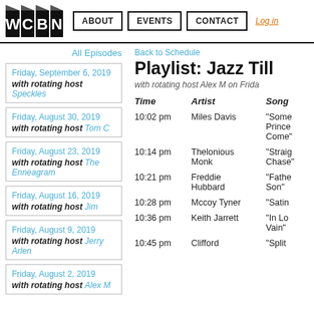WCBN | ABOUT | EVENTS | CONTACT | Log in
All Episodes
Friday, September 6, 2019 with rotating host Speckles
Friday, August 30, 2019 with rotating host Tom C
Friday, August 23, 2019 with rotating host The Enneagram
Friday, August 16, 2019 with rotating host Jim
Friday, August 9, 2019 with rotating host Jerry Arlen
Friday, August 2, 2019 with rotating host Alex M
Back to Schedule
Playlist: Jazz Till
with rotating host Alex M on Frida
| Time | Artist | Song |
| --- | --- | --- |
| 10:02 pm | Miles Davis | “Some Prince Come” |
| 10:14 pm | Thelonious Monk | “Straig Chase” |
| 10:21 pm | Freddie Hubbard | “Fathe Son” |
| 10:28 pm | Mccoy Tyner | “Satin” |
| 10:36 pm | Keith Jarrett | “In Lo Vain” |
| 10:45 pm | Clifford | “Split” |